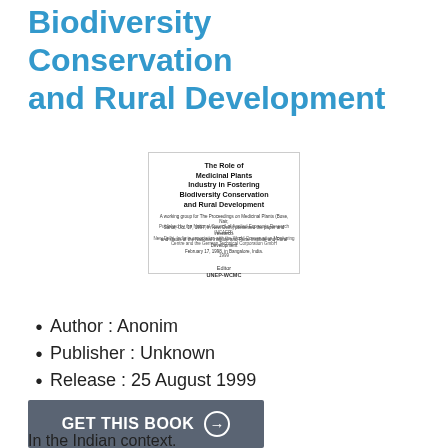Biodiversity Conservation and Rural Development
[Figure (illustration): Book cover thumbnail showing title 'The Role of Medicinal Plants Industry in Fostering Biodiversity Conservation and Rural Development' with small text for proceedings/editor info and publisher details.]
Author : Anonim
Publisher : Unknown
Release : 25 August 1999
GET THIS BOOK →
In the Indian context.